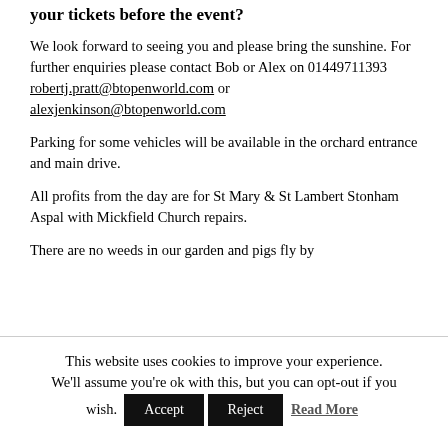your tickets before the event?
We look forward to seeing you and please bring the sunshine. For further enquiries please contact Bob or Alex on 01449711393 robertj.pratt@btopenworld.com or alexjenkinson@btopenworld.com
Parking for some vehicles will be available in the orchard entrance and main drive.
All profits from the day are for St Mary & St Lambert Stonham Aspal with Mickfield Church repairs.
There are no weeds in our garden and pigs fly by
This website uses cookies to improve your experience. We'll assume you're ok with this, but you can opt-out if you wish.  Accept  Reject  Read More